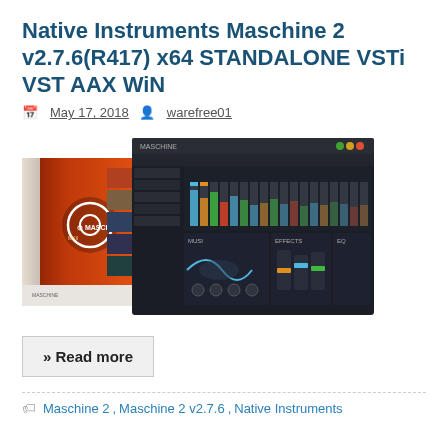Native Instruments Maschine 2 v2.7.6(R417) x64 STANDALONE VSTi VST AAX WiN
May 17, 2018  warefree01
[Figure (screenshot): Product box of Native Instruments Maschine 2 alongside a screenshot of the Maschine 2 software DAW interface showing mixer, patterns, and plugin windows]
» Read more
Maschine 2, Maschine 2 v2.7.6, Native Instruments